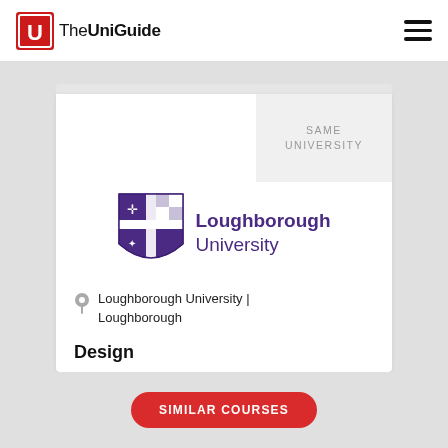TheUniGuide
SAME UNIVERSITY
[Figure (logo): Loughborough University shield logo with purple and white heraldic design]
Loughborough University | Loughborough
Design
SIMILAR COURSES